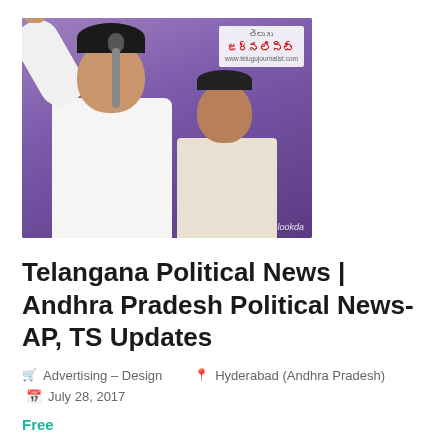[Figure (photo): A man in white shirt speaking into a microphone with finger raised, against a purple background. Telugu Journalist logo overlay in top right corner. 'lookda' watermark at bottom right.]
Telangana Political News | Andhra Pradesh Political News-AP, TS Updates
Advertising – Design   Hyderabad (Andhra Pradesh)
July 28, 2017
Free